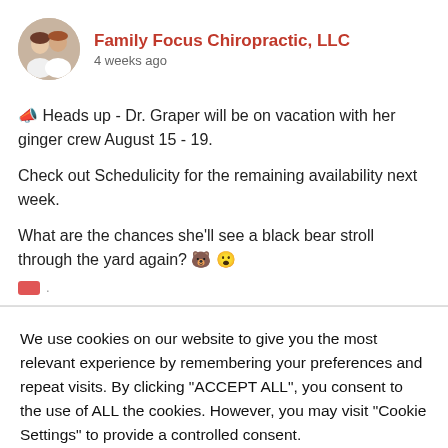Family Focus Chiropractic, LLC · 4 weeks ago
📣 Heads up - Dr. Graper will be on vacation with her ginger crew August 15 - 19.

Check out Schedulicity for the remaining availability next week.

What are the chances she'll see a black bear stroll through the yard again? 🐻 😮
We use cookies on our website to give you the most relevant experience by remembering your preferences and repeat visits. By clicking "ACCEPT ALL", you consent to the use of ALL the cookies. However, you may visit "Cookie Settings" to provide a controlled consent.
Cookie Settings  REJECT ALL  ACCEPT ALL